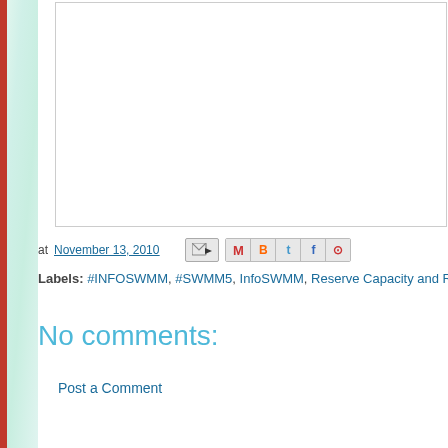[Figure (other): White content area/image box with border, partially visible blog post image]
at November 13, 2010
Labels: #INFOSWMM, #SWMM5, InfoSWMM, Reserve Capacity and Re...
No comments:
Post a Comment